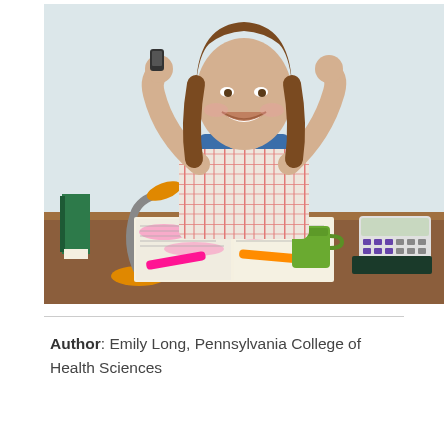[Figure (photo): A smiling young woman with brown hair sitting at a wooden desk, raising both arms in a celebratory gesture. She holds a phone in her right hand. On the desk are open textbooks/newspapers highlighted in pink, a green coffee mug, pink and orange highlighter markers, a green binder, an orange and gray desk lamp, a calculator, and a dark notebook. The background shows white curtains.]
Author: Emily Long, Pennsylvania College of Health Sciences